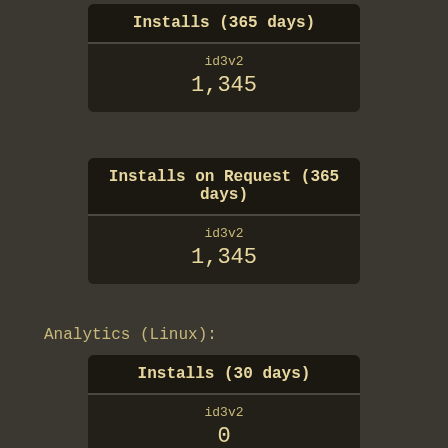| Installs (365 days) |
| --- |
| id3v2 |
| 1,345 |
| Installs on Request (365 days) |
| --- |
| id3v2 |
| 1,345 |
Analytics (Linux):
| Installs (30 days) |
| --- |
| id3v2 |
| 0 |